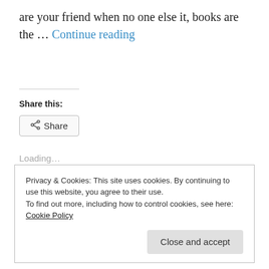are your friend when no one else it, books are the … Continue reading
Share this:
Share
Loading…
Leave a comment
Privacy & Cookies: This site uses cookies. By continuing to use this website, you agree to their use. To find out more, including how to control cookies, see here: Cookie Policy
Close and accept